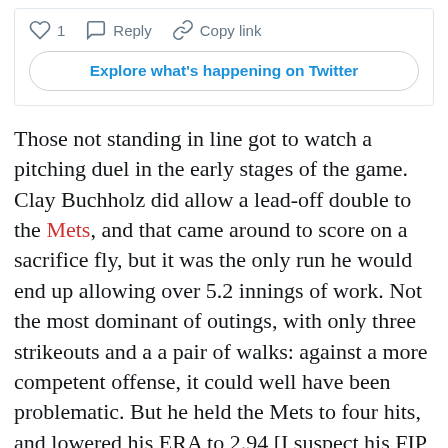[Figure (screenshot): Twitter/social media UI bar with heart icon, 1 like, Reply button, Copy link button, and an 'Explore what's happening on Twitter' button]
Those not standing in line got to watch a pitching duel in the early stages of the game. Clay Buchholz did allow a lead-off double to the Mets, and that came around to score on a sacrifice fly, but it was the only run he would end up allowing over 5.2 innings of work. Not the most dominant of outings, with only three strikeouts and a a pair of walks: against a more competent offense, it could well have been problematic. But he held the Mets to four hits, and lowered his ERA to 2.94 [I suspect his FIP probably took a bit of a hit!]. I'm thinking that was probably good enough to secure his rotation spot when Shelby Miller